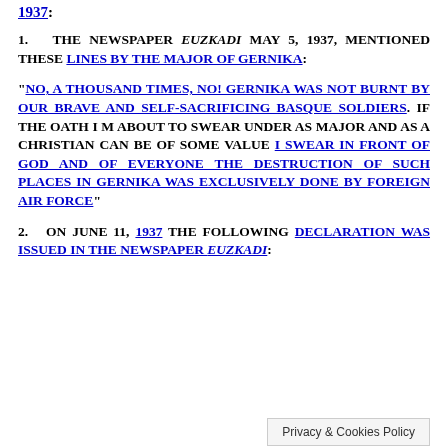1937:
1. THE NEWSPAPER EUZKADI MAY 5, 1937, MENTIONED THESE LINES BY THE MAJOR OF GERNIKA:
"NO, A THOUSAND TIMES, NO! GERNIKA WAS NOT BURNT BY OUR BRAVE AND SELF-SACRIFICING BASQUE SOLDIERS. IF THE OATH I M ABOUT TO SWEAR UNDER AS MAJOR AND AS A CHRISTIAN CAN BE OF SOME VALUE I SWEAR IN FRONT OF GOD AND OF EVERYONE THE DESTRUCTION OF SUCH PLACES IN GERNIKA WAS EXCLUSIVELY DONE BY FOREIGN AIR FORCE"
2. ON JUNE 11, 1937 THE FOLLOWING DECLARATION WAS ISSUED IN THE NEWSPAPER EUZKADI: